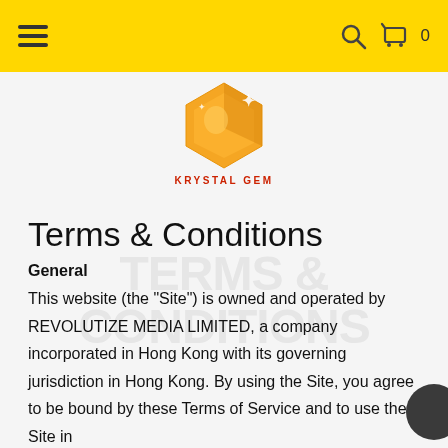Navigation header with hamburger menu, search icon, and cart (0)
[Figure (logo): Krystal Gem logo: orange hexagonal gem shape with sparkles, with text KRYSTAL GEM below in red]
Terms & Conditions
General
This website (the "Site") is owned and operated by REVOLUTIZE MEDIA LIMITED, a company incorporated in Hong Kong with its governing jurisdiction in Hong Kong. By using the Site, you agree to be bound by these Terms of Service and to use the Site in